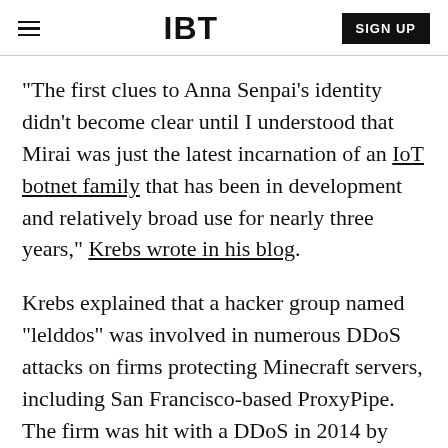IBT | SIGN UP
"The first clues to Anna Senpai's identity didn't become clear until I understood that Mirai was just the latest incarnation of an IoT botnet family that has been in development and relatively broad use for nearly three years," Krebs wrote in his blog.
Krebs explained that a hacker group named "lelddos" was involved in numerous DDoS attacks on firms protecting Minecraft servers, including San Francisco-based ProxyPipe. The firm was hit with a DDoS in 2014 by lelddos.